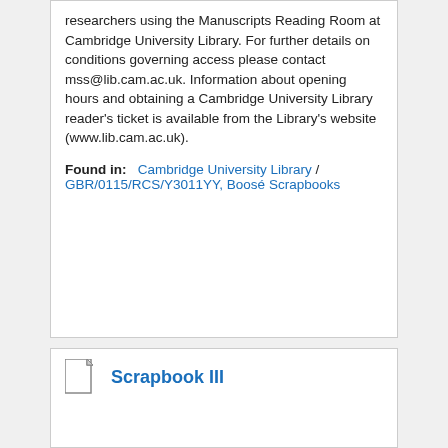researchers using the Manuscripts Reading Room at Cambridge University Library. For further details on conditions governing access please contact mss@lib.cam.ac.uk. Information about opening hours and obtaining a Cambridge University Library reader's ticket is available from the Library's website (www.lib.cam.ac.uk).
Found in:   Cambridge University Library / GBR/0115/RCS/Y3011YY, Boosé Scrapbooks
Scrapbook III